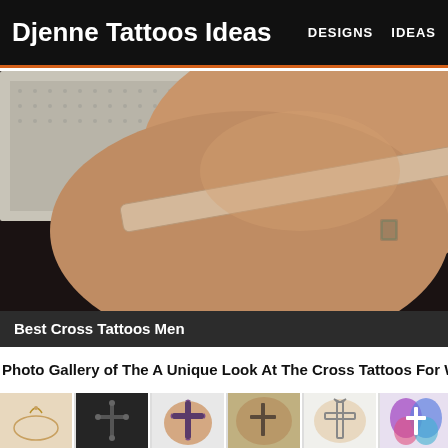Djenne Tattoos Ideas  |  DESIGNS  |  IDEAS
[Figure (photo): Close-up photo of a person's wrist/forearm area near the collarbone with a nude/beige bra strap visible, skin tone warm, dark background with textured fabric in upper left corner.]
Best Cross Tattoos Men
Photo Gallery of The A Unique Look At The Cross Tattoos For Wom...
[Figure (photo): Thumbnail of ankle tattoo with chain-like cross design]
[Figure (photo): Thumbnail of cross tattoo on wrist]
[Figure (photo): Thumbnail of ornate cross tattoo on torso]
[Figure (photo): Thumbnail of cross tattoo on side/rib area]
[Figure (photo): Thumbnail of simple cross tattoo outline]
[Figure (photo): Thumbnail of colorful butterfly/cross tattoo]